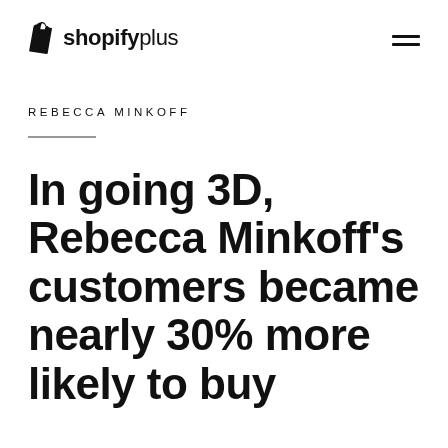shopify plus
REBECCA MINKOFF
In going 3D, Rebecca Minkoff's customers became nearly 30% more likely to buy